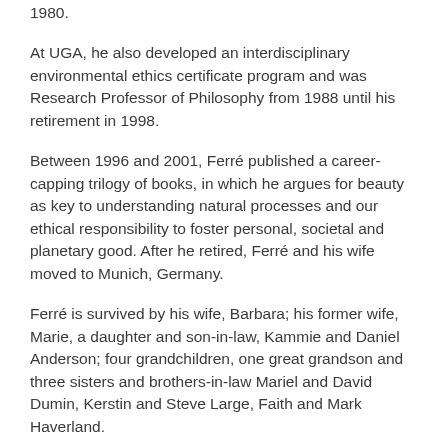1980.
At UGA, he also developed an interdisciplinary environmental ethics certificate program and was Research Professor of Philosophy from 1988 until his retirement in 1998.
Between 1996 and 2001, Ferré published a career-capping trilogy of books, in which he argues for beauty as key to understanding natural processes and our ethical responsibility to foster personal, societal and planetary good. After he retired, Ferré and his wife moved to Munich, Germany.
Ferré is survived by his wife, Barbara; his former wife, Marie, a daughter and son-in-law, Kammie and Daniel Anderson; four grandchildren, one great grandson and three sisters and brothers-in-law Mariel and David Dumin, Kerstin and Steve Large, Faith and Mark Haverland.
A memorial service will take place April 30 in Munich.